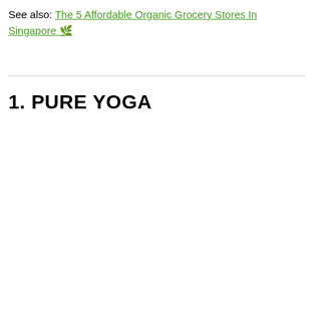See also: The 5 Affordable Organic Grocery Stores In Singapore 🌿
1. PURE YOGA